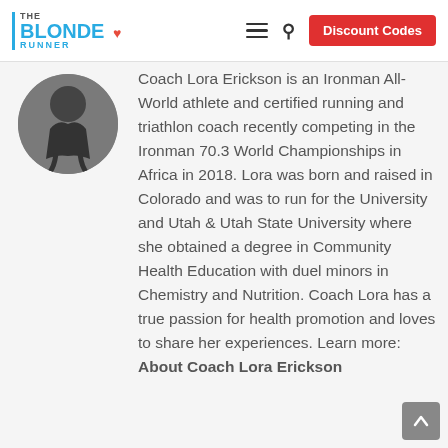THE BLONDE RUNNER — Discount Codes
[Figure (photo): Circular profile photo of a person running, shown from behind, wearing dark clothing.]
Coach Lora Erickson is an Ironman All-World athlete and certified running and triathlon coach recently competing in the Ironman 70.3 World Championships in Africa in 2018. Lora was born and raised in Colorado and was to run for the University and Utah & Utah State University where she obtained a degree in Community Health Education with duel minors in Chemistry and Nutrition. Coach Lora has a true passion for health promotion and loves to share her experiences. Learn more: About Coach Lora Erickson